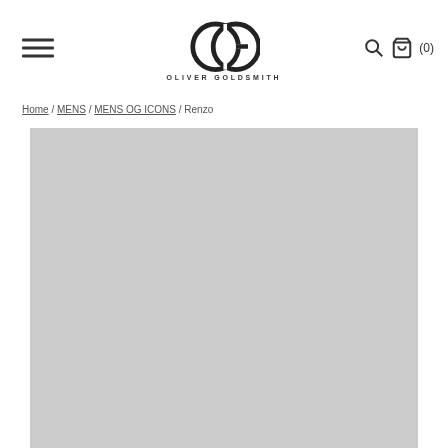Oliver Goldsmith — Navigation header with menu, logo, search, and bag (0)
Home / MENS / MENS OG ICONS / Renzo
[Figure (photo): Product image placeholder — light grey rectangle representing a product photo for Renzo eyewear]